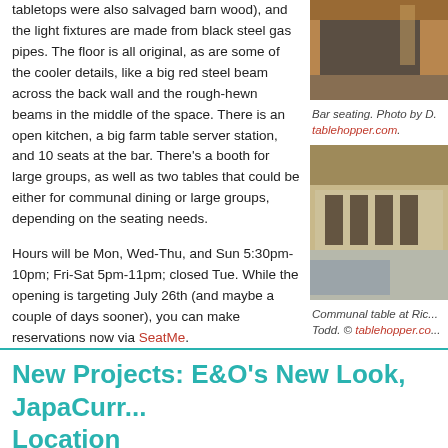tabletops were also salvaged barn wood), and the light fixtures are made from black steel gas pipes. The floor is all original, as are some of the cooler details, like a big red steel beam across the back wall and the rough-hewn beams in the middle of the space. There is an open kitchen, a big farm table server station, and 10 seats at the bar. There's a booth for large groups, as well as two tables that could be either for communal dining or large groups, depending on the seating needs.
Hours will be Mon, Wed-Thu, and Sun 5:30pm-10pm; Fri-Sat 5pm-11pm; closed Tue. While the opening is targeting July 26th (and maybe a couple of days sooner), you can make reservations now via SeatMe.
Rich Table on Jul 17, 2012
[Figure (photo): Bar seating photo, partially cropped on right side]
Bar seating. Photo by D. tablehopper.com.
[Figure (photo): Communal table at Rich Table restaurant interior]
Communal table at Rich Table. Photo by Todd. © tablehopper.co...
New Projects: E&O's New Look, JapaCurr... Location